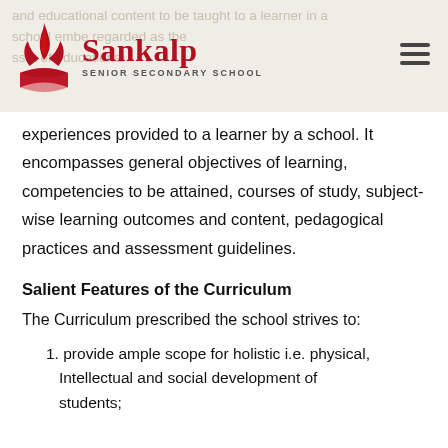Sankalp Senior Secondary School
experiences provided to a learner by a school. It encompasses general objectives of learning, competencies to be attained, courses of study, subject-wise learning outcomes and content, pedagogical practices and assessment guidelines.
Salient Features of the Curriculum
The Curriculum prescribed the school strives to:
provide ample scope for holistic i.e. physical, Intellectual and social development of students;